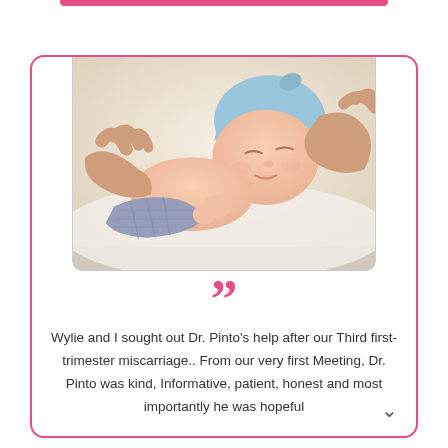[Figure (photo): A sleeping newborn baby wearing a blue knit hat, cradled in adult hands on a white surface.]
””
Wylie and I sought out Dr. Pinto's help after our Third first- trimester miscarriage.. From our very first Meeting, Dr. Pinto was kind, Informative, patient, honest and most importantly he was hopeful